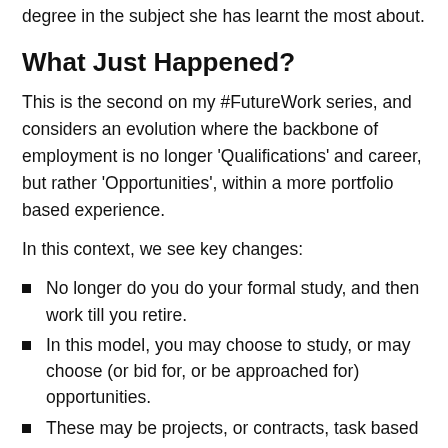degree in the subject she has learnt the most about.
What Just Happened?
This is the second on my #FutureWork series, and considers an evolution where the backbone of employment is no longer 'Qualifications' and career, but rather 'Opportunities', within a more portfolio based experience.
In this context, we see key changes:
No longer do you do your formal study, and then work till you retire.
In this model, you may choose to study, or may choose (or bid for, or be approached for) opportunities.
These may be projects, or contracts, task based or